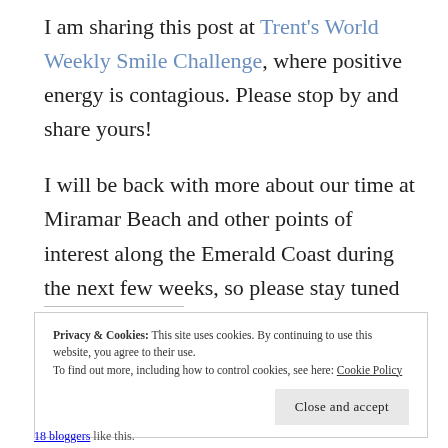I am sharing this post at Trent's World Weekly Smile Challenge, where positive energy is contagious. Please stop by and share yours!
I will be back with more about our time at Miramar Beach and other points of interest along the Emerald Coast during the next few weeks, so please stay tuned as life unfolds.
Privacy & Cookies: This site uses cookies. By continuing to use this website, you agree to their use. To find out more, including how to control cookies, see here: Cookie Policy
Close and accept
18 bloggers like this.